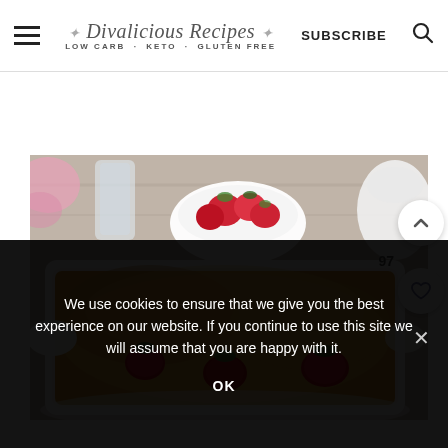Divalicious Recipes - LOW CARB · KETO · GLUTEN FREE | SUBSCRIBE
[Figure (photo): A baked strawberry tart/clafoutis in a white rectangular baking dish on a wooden table, with a bowl of fresh strawberries and glassware in the background.]
We use cookies to ensure that we give you the best experience on our website. If you continue to use this site we will assume that you are happy with it.
OK